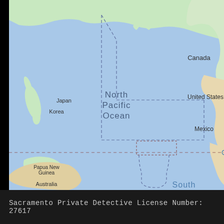[Figure (map): Map of the North Pacific Ocean region showing Japan, Korea, Canada, United States, Mexico, Papua New Guinea, Australia, and South Pacific. Dashed boundary lines indicating a region are overlaid on the map.]
Sacramento Private Detective License Number: 27617